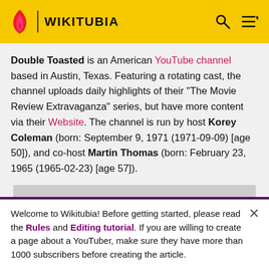WIKITUBIA
Double Toasted is an American YouTube channel based in Austin, Texas. Featuring a rotating cast, the channel uploads daily highlights of their "The Movie Review Extravaganza" series, but have more content via their Website. The channel is run by host Korey Coleman (born: September 9, 1971 (1971-09-09) [age 50]), and co-host Martin Thomas (born: February 23, 1965 (1965-02-23) [age 57]).
[Figure (photo): Partially visible gray image placeholder below the main article text]
Welcome to Wikitubia! Before getting started, please read the Rules and Editing tutorial. If you are willing to create a page about a YouTuber, make sure they have more than 1000 subscribers before creating the article.